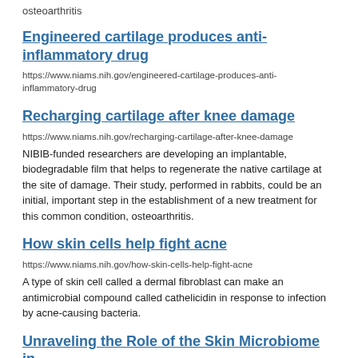osteoarthritis
Engineered cartilage produces anti-inflammatory drug
https://www.niams.nih.gov/engineered-cartilage-produces-anti-inflammatory-drug
Recharging cartilage after knee damage
https://www.niams.nih.gov/recharging-cartilage-after-knee-damage
NIBIB-funded researchers are developing an implantable, biodegradable film that helps to regenerate the native cartilage at the site of damage. Their study, performed in rabbits, could be an initial, important step in the establishment of a new treatment for this common condition, osteoarthritis.
How skin cells help fight acne
https://www.niams.nih.gov/how-skin-cells-help-fight-acne
A type of skin cell called a dermal fibroblast can make an antimicrobial compound called cathelicidin in response to infection by acne-causing bacteria.
Unraveling the Role of the Skin Microbiome in